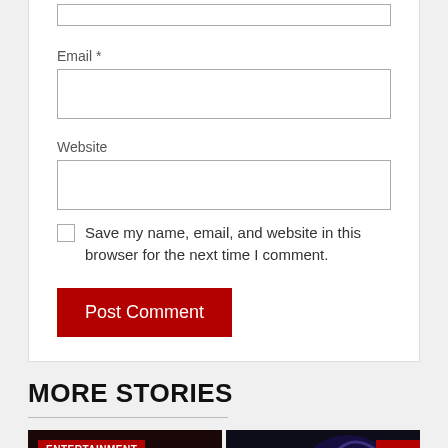Email *
Website
Save my name, email, and website in this browser for the next time I comment.
Post Comment
MORE STORIES
[Figure (photo): Dark concert performance photo with silhouetted figures, ENTERTAINMENT badge overlay]
[Figure (photo): Dark concert/performance photo with colorful lighting]